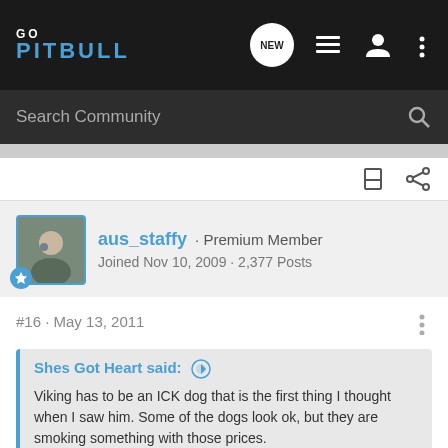GO PITBULL — navigation bar with logo, NEW button, list icon, user icon, menu icon
Search Community
[Figure (screenshot): Toolbar row with bookmark and share icons]
aus_staffy · Premium Member
Joined Nov 10, 2009 · 2,377 Posts
#16 · May 13, 2011
Shes Got Heart said: ⊕
Viking has to be an ICK dog that is the first thing I thought when I saw him. Some of the dogs look ok, but they are smoking something with those prices.
They must be selling if they feel they can charge that much. Pretty sad really.